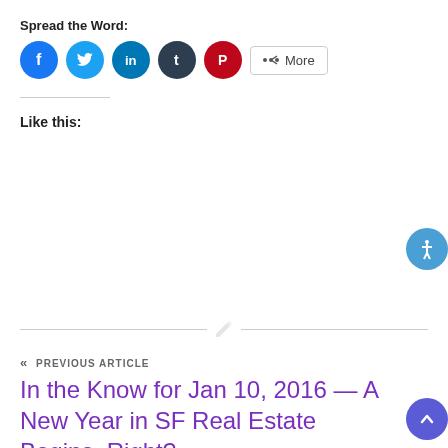Spread the Word:
[Figure (infographic): Social sharing icons: Facebook (blue circle), Twitter (light blue circle), LinkedIn (blue circle), Tumblr (dark circle), Pinterest (red circle), and a More button with share icon]
Like this:
« PREVIOUS ARTICLE
In the Know for Jan 10, 2016 — A New Year in SF Real Estate Begins, Right?